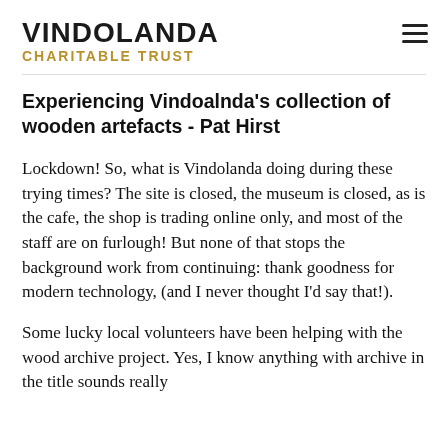VINDOLANDA CHARITABLE TRUST
Experiencing Vindoalnda’s collection of wooden artefacts - Pat Hirst
Lockdown!  So, what is Vindolanda doing during these trying times?  The site is closed, the museum is closed, as is the cafe, the shop is trading online only, and most of the staff are on furlough!  But none of that stops the background work from continuing:  thank goodness for modern technology, (and I never thought I’d say that!).
Some lucky local volunteers have been helping with the wood archive project.  Yes, I know anything with archive in the title sounds really